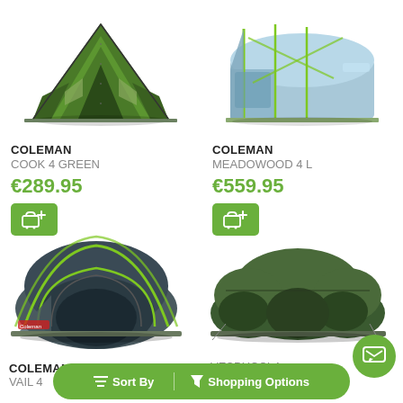[Figure (photo): Coleman Cook 4 Green tent - dark green A-frame style tent]
COLEMAN
COOK 4 GREEN
€289.95
[Figure (photo): Coleman Meadowood 4 L tent - light blue/grey large family tent]
COLEMAN
MEADOWOOD 4 L
€559.95
[Figure (photo): Coleman Vail 4 tent - dark grey dome tent with green poles]
COLEMAN
VAIL 4
[Figure (photo): Coleman Vespucci 4 tent - dark green multi-room tent]
VESPUCCI 4